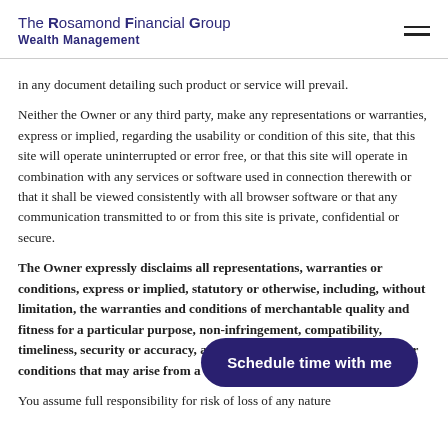The Rosamond Financial Group Wealth Management
in any document detailing such product or service will prevail.
Neither the Owner or any third party, make any representations or warranties, express or implied, regarding the usability or condition of this site, that this site will operate uninterrupted or error free, or that this site will operate in combination with any services or software used in connection therewith or that it shall be viewed consistently with all browser software or that any communication transmitted to or from this site is private, confidential or secure.
The Owner expressly disclaims all representations, warranties or conditions, express or implied, statutory or otherwise, including, without limitation, the warranties and conditions of merchantable quality and fitness for a particular purpose, non-infringement, compatibility, timeliness, security or accuracy, and any representations, warranties or conditions that may arise from a course of dealing or usage of trad
You assume full responsibility for risk of loss of any nature